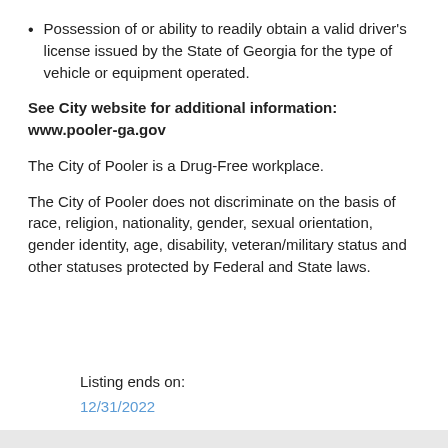Possession of or ability to readily obtain a valid driver's license issued by the State of Georgia for the type of vehicle or equipment operated.
See City website for additional information: www.pooler-ga.gov
The City of Pooler is a Drug-Free workplace.
The City of Pooler does not discriminate on the basis of race, religion, nationality, gender, sexual orientation, gender identity, age, disability, veteran/military status and other statuses protected by Federal and State laws.
Listing ends on:
12/31/2022